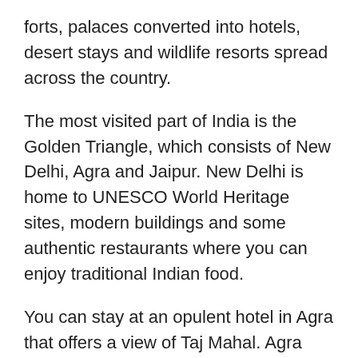forts, palaces converted into hotels, desert stays and wildlife resorts spread across the country.
The most visited part of India is the Golden Triangle, which consists of New Delhi, Agra and Jaipur. New Delhi is home to UNESCO World Heritage sites, modern buildings and some authentic restaurants where you can enjoy traditional Indian food.
You can stay at an opulent hotel in Agra that offers a view of Taj Mahal. Agra also has wonderful rooftop restaurants with views of the Taj Mahal.
If you wish to stay like a Maharaja, then Jaipur is the place to visit. Here you will find luxurious